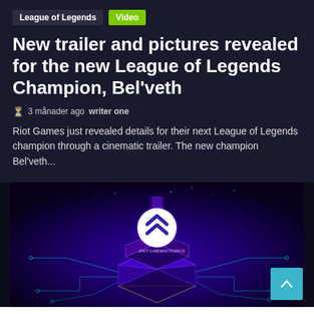League of Legends | Video
New trailer and pictures revealed for the new League of Legends Champion, Bel'veth
3 månader ago  writer one
Riot Games just revealed details for their next League of Legends champion through a cinematic trailer. The new champion Bel'veth...
[Figure (illustration): Isometric illustration of a glowing purple circuit board pedestal with a white circular chevron logo on top, featuring Riot Games branding, surrounded by circuit line decorations on a deep purple/blue background. A teal scroll-to-top button is visible in the bottom right corner.]